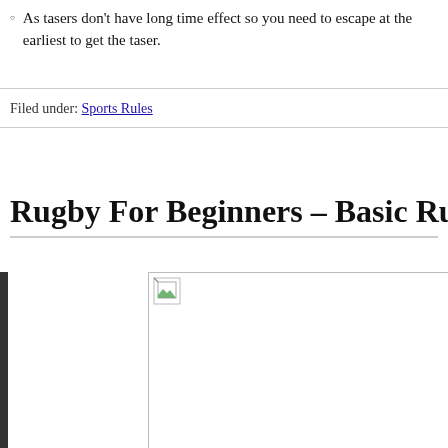As tasers don't have long time effect so you need to escape at the earliest to get the taser.
Filed under: Sports Rules
Rugby For Beginners – Basic Rules & Po
[Figure (photo): Broken image placeholder for a rugby-related image]